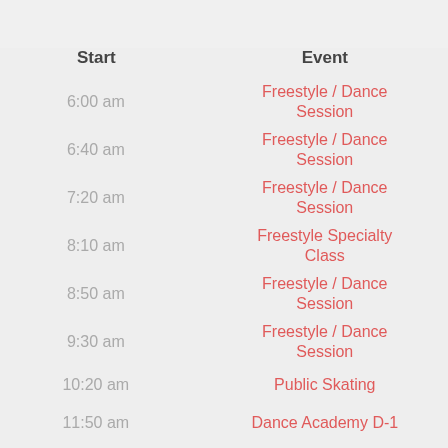| Start | Event |
| --- | --- |
| 6:00 am | Freestyle / Dance Session |
| 6:40 am | Freestyle / Dance Session |
| 7:20 am | Freestyle / Dance Session |
| 8:10 am | Freestyle Specialty Class |
| 8:50 am | Freestyle / Dance Session |
| 9:30 am | Freestyle / Dance Session |
| 10:20 am | Public Skating |
| 11:50 am | Dance Academy D-1 |
| 1:00 pm | Summer Fun Camp |